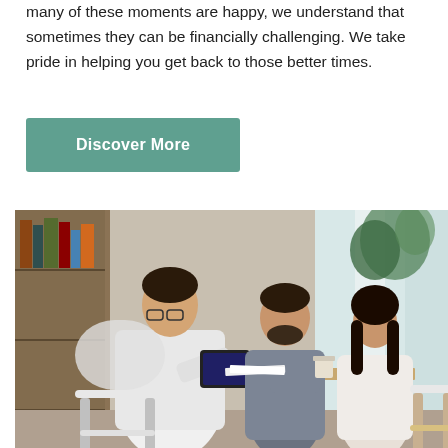many of these moments are happy, we understand that sometimes they can be financially challenging. We take pride in helping you get back to those better times.
[Figure (other): Button element with teal/green background reading 'Discover More' in white text]
[Figure (photo): A financial advisor in a white shirt holding a tablet, sitting across a table from a couple (man in grey sweater, woman in white top), in a modern office with bookshelves and plants in the background.]